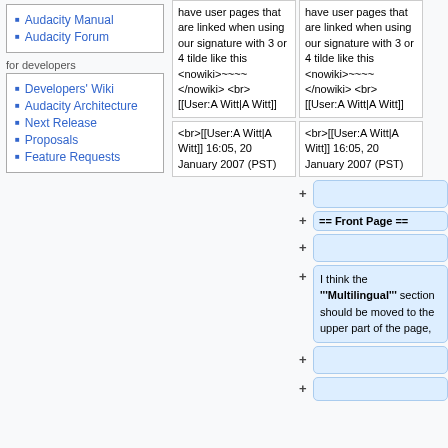Audacity Manual
Audacity Forum
for developers
Developers' Wiki
Audacity Architecture
Next Release
Proposals
Feature Requests
have user pages that are linked when using our signature with 3 or 4 tilde like this <nowiki>~~~~</nowiki> <br> [[User:A Witt|A Witt]]
have user pages that are linked when using our signature with 3 or 4 tilde like this <nowiki>~~~~</nowiki> <br> [[User:A Witt|A Witt]]
<br>[[User:A Witt|A Witt]] 16:05, 20 January 2007 (PST)
<br>[[User:A Witt|A Witt]] 16:05, 20 January 2007 (PST)
== Front Page ==
I think the '''Multilingual''' section should be moved to the upper part of the page,